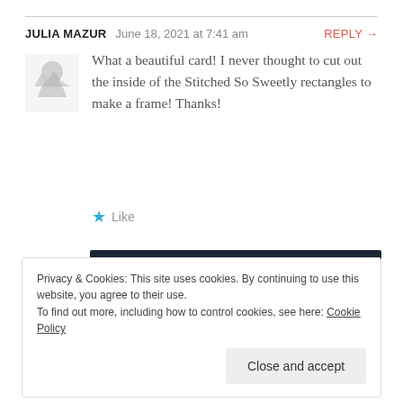JULIA MAZUR  June 18, 2021 at 7:41 am  REPLY →
What a beautiful card! I never thought to cut out the inside of the Stitched So Sweetly rectangles to make a frame! Thanks!
★ Like
[Figure (other): WordPress advertisement banner with dark navy background, text 'Opinions. We all have them!' with WordPress and survey logos]
REPORT THIS AD
Privacy & Cookies: This site uses cookies. By continuing to use this website, you agree to their use. To find out more, including how to control cookies, see here: Cookie Policy
Close and accept